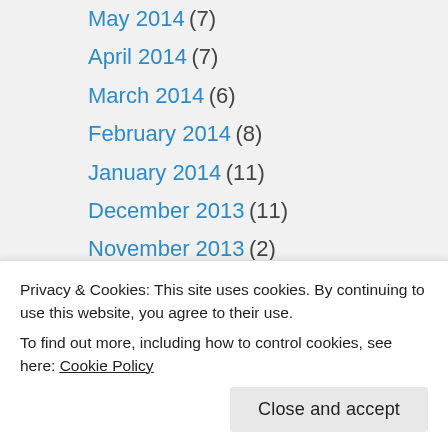May 2014 (7)
April 2014 (7)
March 2014 (6)
February 2014 (8)
January 2014 (11)
December 2013 (11)
November 2013 (2)
October 2013 (5)
September 2013 (7)
CATEGORIES
Board Game Cakes (1)
Childrens/Family Games (19)
Privacy & Cookies: This site uses cookies. By continuing to use this website, you agree to their use.
To find out more, including how to control cookies, see here: Cookie Policy
Crush the Crown (1)